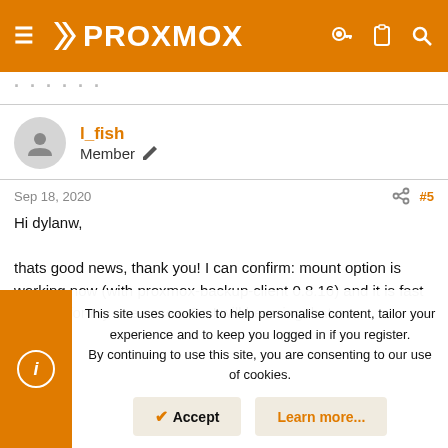PROXMOX
l_fish
Member
Sep 18, 2020  #5
Hi dylanw,

thats good news, thank you! I can confirm: mount option is working now (with proxmox-backup-client 0.8.16) and it is fast enough for my use cases. So I will be using that now.
This site uses cookies to help personalise content, tailor your experience and to keep you logged in if you register.
By continuing to use this site, you are consenting to our use of cookies.
Accept
Learn more...